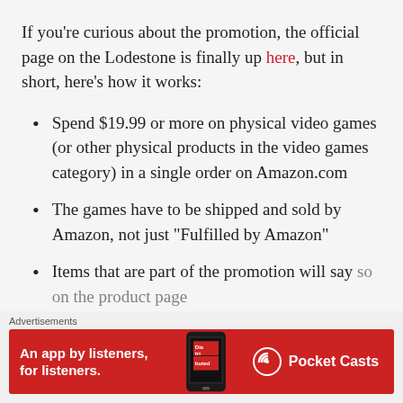If you’re curious about the promotion, the official page on the Lodestone is finally up here, but in short, here’s how it works:
Spend $19.99 or more on physical video games (or other physical products in the video games category) in a single order on Amazon.com
The games have to be shipped and sold by Amazon, not just “Fulfilled by Amazon”
Items that are part of the promotion will say so on the product page
Advertisements
[Figure (other): Pocket Casts advertisement banner: red background with text 'An app by listeners, for listeners.' and Pocket Casts logo, with a phone image showing 'Distributed' text.]